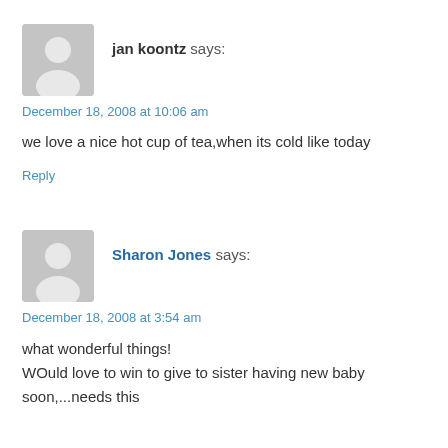[Figure (illustration): Gray placeholder avatar icon with silhouette of a person, for user jan koontz]
jan koontz says:
December 18, 2008 at 10:06 am
we love a nice hot cup of tea,when its cold like today
Reply
[Figure (illustration): Gray placeholder avatar icon with silhouette of a person, for user Sharon Jones]
Sharon Jones says:
December 18, 2008 at 3:54 am
what wonderful things!
WOuld love to win to give to sister having new baby soon,...needs this